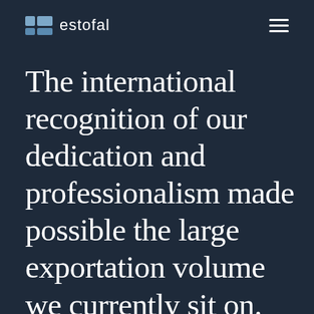estofal
The international recognition of our dedication and professionalism made possible the large exportation volume we currently sit on.